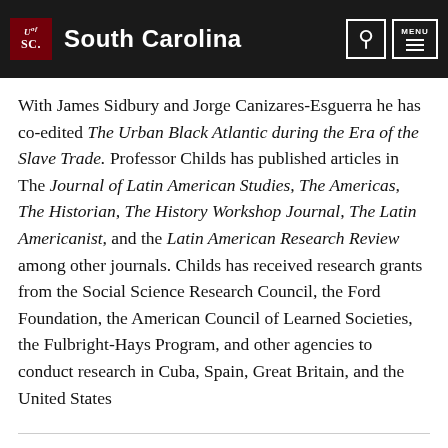University of South Carolina
With James Sidbury and Jorge Canizares-Esguerra he has co-edited The Urban Black Atlantic during the Era of the Slave Trade. Professor Childs has published articles in The Journal of Latin American Studies, The Americas, The Historian, The History Workshop Journal, The Latin Americanist, and the Latin American Research Review among other journals. Childs has received research grants from the Social Science Research Council, the Ford Foundation, the American Council of Learned Societies, the Fulbright-Hays Program, and other agencies to conduct research in Cuba, Spain, Great Britain, and the United States
Activities